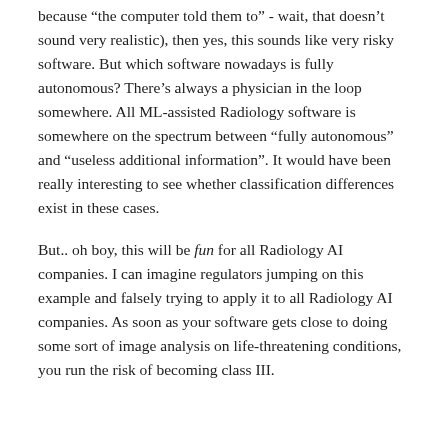because "the computer told them to" - wait, that doesn't sound very realistic), then yes, this sounds like very risky software. But which software nowadays is fully autonomous? There's always a physician in the loop somewhere. All ML-assisted Radiology software is somewhere on the spectrum between "fully autonomous" and "useless additional information". It would have been really interesting to see whether classification differences exist in these cases.
But.. oh boy, this will be fun for all Radiology AI companies. I can imagine regulators jumping on this example and falsely trying to apply it to all Radiology AI companies. As soon as your software gets close to doing some sort of image analysis on life-threatening conditions, you run the risk of becoming class III.